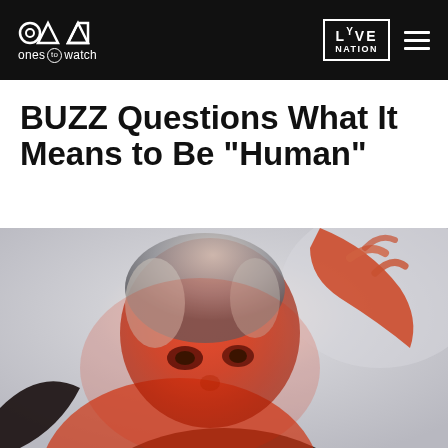ones to watch | LIVE NATION
BUZZ Questions What It Means to Be "Human"
[Figure (photo): A person with short light hair bathed in red/orange dramatic lighting, looking at the camera with one hand raised near their head. High contrast black and white with red color wash.]